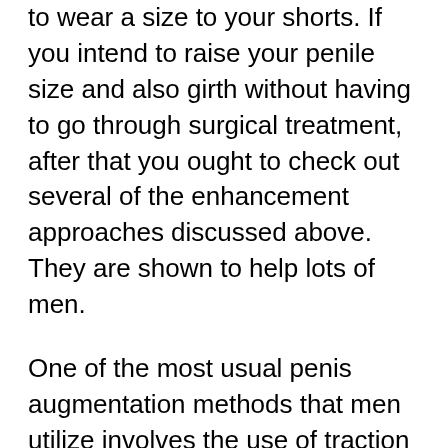to wear a size to your shorts. If you intend to raise your penile size and also girth without having to go through surgical treatment, after that you ought to check out several of the enhancement approaches discussed above. They are shown to help lots of men.
One of the most usual penis augmentation methods that men utilize involves the use of traction devices. Traction gadgets work by using continuous stress to the organ. When this constant pressure is applied, the body responds by generating the lubrication that is needed for appropriate development. This lubrication helps the cells in the penis expand and also increase. Grip devices have actually remained in usage for years. There are even numerous guys that swear by their